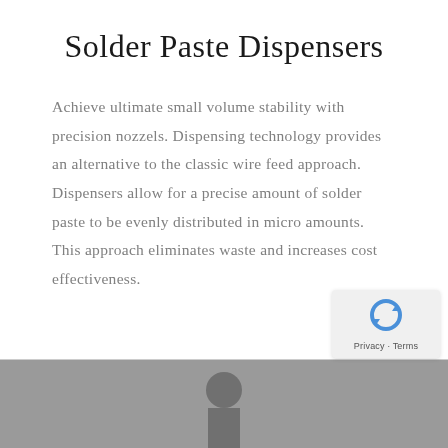Solder Paste Dispensers
Achieve ultimate small volume stability with precision nozzels. Dispensing technology provides an alternative to the classic wire feed approach. Dispensers allow for a precise amount of solder paste to be evenly distributed in micro amounts. This approach eliminates waste and increases cost effectiveness.
[Figure (photo): Bottom portion showing a photograph of what appears to be a person or equipment, partially visible at bottom of page]
[Figure (logo): reCAPTCHA privacy badge with circular arrow icon and Privacy - Terms label]